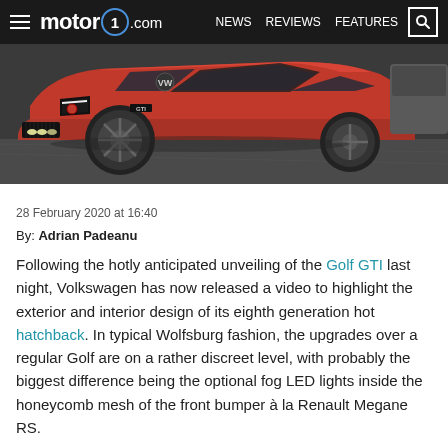motor1.com  NEWS  REVIEWS  FEATURES
[Figure (photo): Red Volkswagen Golf GTI 8th generation front three-quarter view in a dark studio/parking setting]
28 February 2020 at 16:40
By: Adrian Padeanu
Following the hotly anticipated unveiling of the Golf GTI last night, Volkswagen has now released a video to highlight the exterior and interior design of its eighth generation hot hatchback. In typical Wolfsburg fashion, the upgrades over a regular Golf are on a rather discreet level, with probably the biggest difference being the optional fog LED lights inside the honeycomb mesh of the front bumper à la Renault Megane RS.